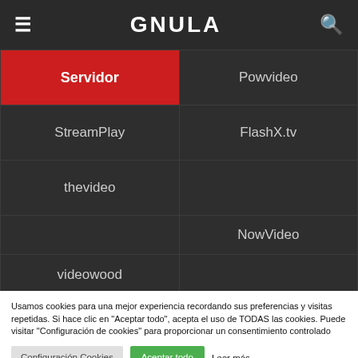GNULA
| Servidor | Powvideo |
| --- | --- |
| StreamPlay | FlashX.tv |
| thevideo |  |
|  | NowVideo |
| videowood |  |
Usamos cookies para una mejor experiencia recordando sus preferencias y visitas repetidas. Si hace clic en "Aceptar todo", acepta el uso de TODAS las cookies. Puede visitar "Configuración de cookies" para proporcionar un consentimiento controlado
Configuración Cookies
Aceptar todo
Leer más